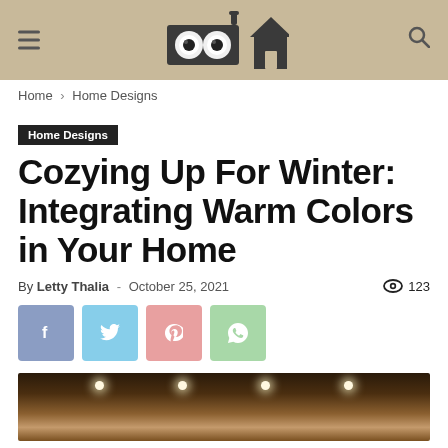Logo header with hamburger menu and search icon
Home › Home Designs
Home Designs
Cozying Up For Winter: Integrating Warm Colors in Your Home
By Letty Thalia - October 25, 2021  123
[Figure (other): Social sharing buttons: Facebook, Twitter, Pinterest, WhatsApp]
[Figure (photo): Interior room photo showing ceiling with recessed lights and warm-toned decor]